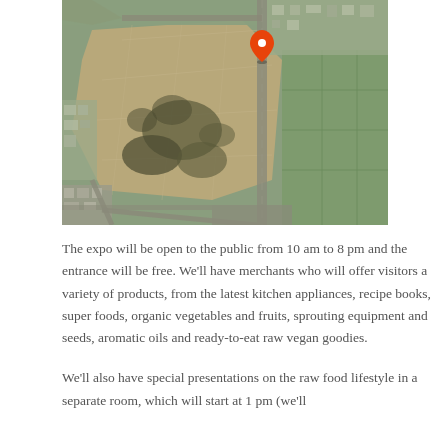[Figure (map): Aerial/satellite map view of an urban area with a large open field/park, roads, and buildings. A red location pin marker is placed near the top-center of the map.]
The expo will be open to the public from 10 am to 8 pm and the entrance will be free. We'll have merchants who will offer visitors a variety of products, from the latest kitchen appliances, recipe books, super foods, organic vegetables and fruits, sprouting equipment and seeds, aromatic oils and ready-to-eat raw vegan goodies.
We'll also have special presentations on the raw food lifestyle in a separate room, which will start at 1 pm (we'll